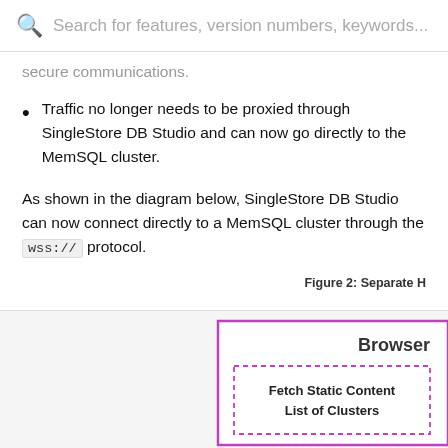Search for features, version numbers, keywords...
secure communications.
Traffic no longer needs to be proxied through SingleStore DB Studio and can now go directly to the MemSQL cluster.
As shown in the diagram below, SingleStore DB Studio can now connect directly to a MemSQL cluster through the wss:// protocol.
Figure 2: Separate H
[Figure (engineering-diagram): Partial diagram showing a Browser box with a dashed inner box labeled 'Fetch Static Content List of Clusters']